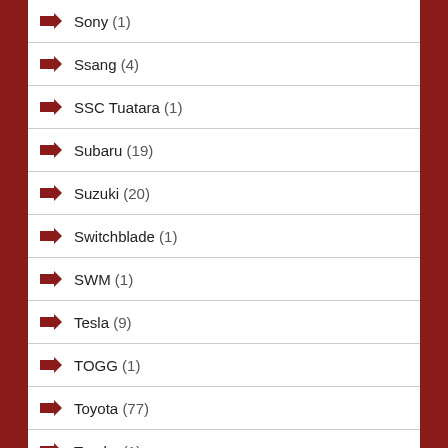Sony (1)
Ssang (4)
SSC Tuatara (1)
Subaru (19)
Suzuki (20)
Switchblade (1)
SWM (1)
Tesla (9)
TOGG (1)
Toyota (77)
Trucks (1)
UAZ (8)
Vayanne (1)
Viritech Apricale (1)